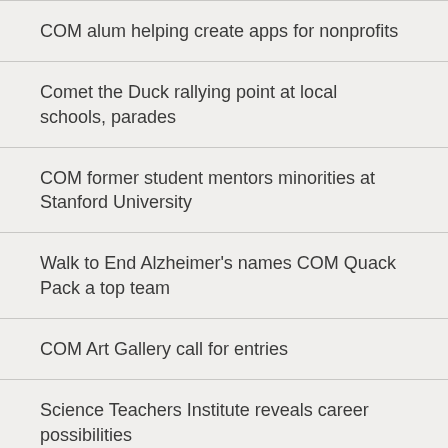COM alum helping create apps for nonprofits
Comet the Duck rallying point at local schools, parades
COM former student mentors minorities at Stanford University
Walk to End Alzheimer's names COM Quack Pack a top team
COM Art Gallery call for entries
Science Teachers Institute reveals career possibilities
$347,210 in equipment to boost COM mechanical program
COM recertified as Achieving the Dream Leader College